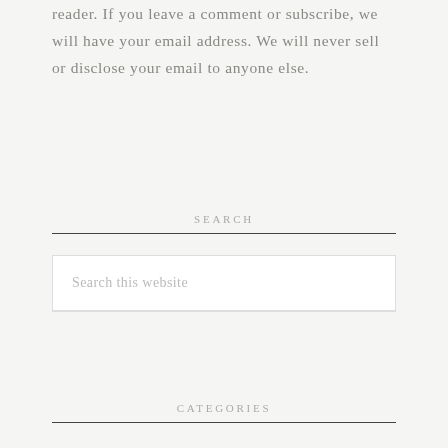reader. If you leave a comment or subscribe, we will have your email address. We will never sell or disclose your email to anyone else.
SEARCH
[Figure (other): Search input box with placeholder text 'Search this website']
CATEGORIES